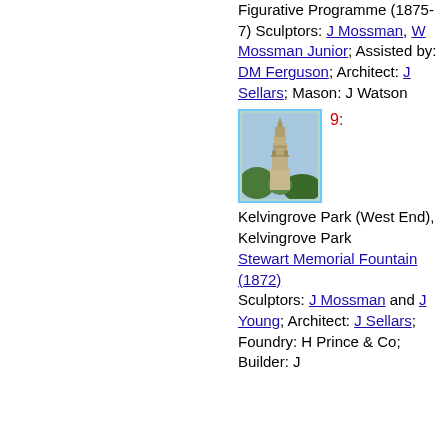Figurative Programme (1875-7) Sculptors: J Mossman, W Mossman Junior; Assisted by: DM Ferguson; Architect: J Sellars; Mason: J Watson
[Figure (photo): Photograph of the Stewart Memorial Fountain in Kelvingrove Park, showing an ornate stone spire structure with decorative carvings against a blue sky with trees in the background.]
9: Kelvingrove Park (West End), Kelvingrove Park Stewart Memorial Fountain (1872) Sculptors: J Mossman and J Young; Architect: J Sellars; Foundry: H Prince & Co; Builder: J